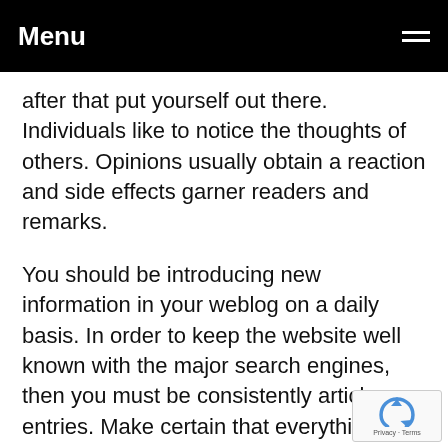Menu
after that put yourself out there. Individuals like to notice the thoughts of others. Opinions usually obtain a reaction and side effects garner readers and remarks.
You should be introducing new information in your weblog on a daily basis. In order to keep the website well known with the major search engines, then you must be consistently article new entries. Make certain that everything you write is actually beneficial, really not a large amount of fluff to say that you just made some type of entrance.
Name your posts to draw your reader's interest. No one is planning to study a post having a improperly